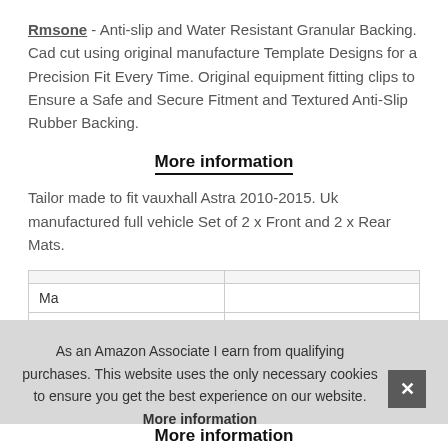Rmsone - Anti-slip and Water Resistant Granular Backing. Cad cut using original manufacture Template Designs for a Precision Fit Every Time. Original equipment fitting clips to Ensure a Safe and Secure Fitment and Textured Anti-Slip Rubber Backing.
More information
Tailor made to fit vauxhall Astra 2010-2015. Uk manufactured full vehicle Set of 2 x Front and 2 x Rear Mats.
| Ma... |
| P... |
As an Amazon Associate I earn from qualifying purchases. This website uses the only necessary cookies to ensure you get the best experience on our website. More information
More information